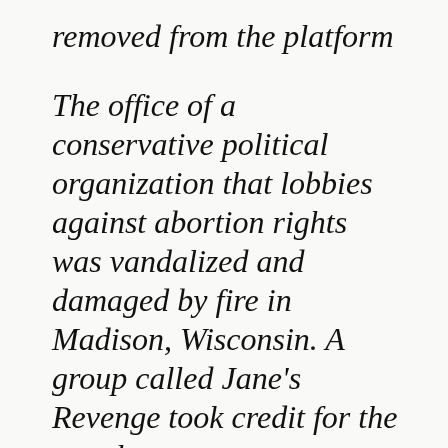removed from the platform
The office of a conservative political organization that lobbies against abortion rights was vandalized and damaged by fire in Madison, Wisconsin. A group called Jane's Revenge took credit for the attack.